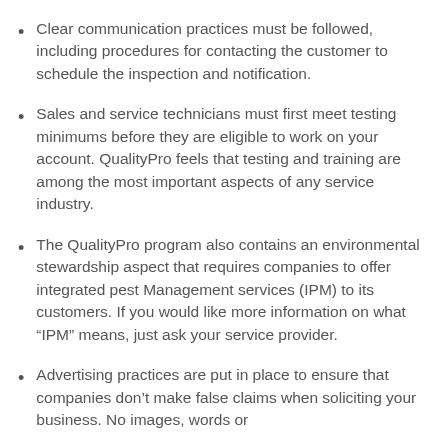Clear communication practices must be followed, including procedures for contacting the customer to schedule the inspection and notification.
Sales and service technicians must first meet testing minimums before they are eligible to work on your account. QualityPro feels that testing and training are among the most important aspects of any service industry.
The QualityPro program also contains an environmental stewardship aspect that requires companies to offer integrated pest Management services (IPM) to its customers. If you would like more information on what “IPM” means, just ask your service provider.
Advertising practices are put in place to ensure that companies don’t make false claims when soliciting your business. No images, words or